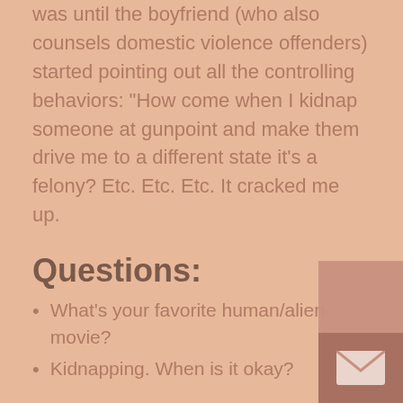was until the boyfriend (who also counsels domestic violence offenders) started pointing out all the controlling behaviors: "How come when I kidnap someone at gunpoint and make them drive me to a different state it's a felony? Etc. Etc. Etc. It cracked me up.
Questions:
What's your favorite human/alien movie?
Kidnapping. When is it okay?
Favorite IMDB trivia item:
Actor Jeff Bridges studied ornithology and the behavior of birds to prepare for his role as an alien in